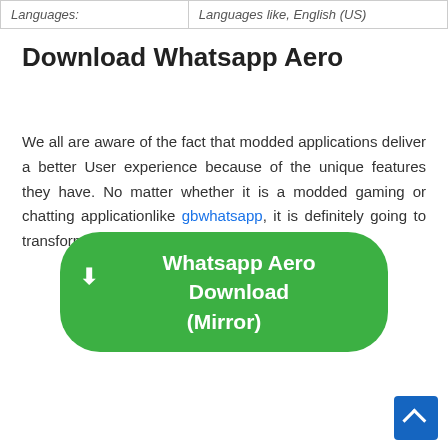| Languages: | Languages like, English (US) |
Download Whatsapp Aero
We all are aware of the fact that modded applications deliver a better User experience because of the unique features they have. No matter whether it is a modded gaming or chatting applicationlike gbwhatsapp, it is definitely going to transform things for the better.
Whatsapp Aero Download (Mirror)